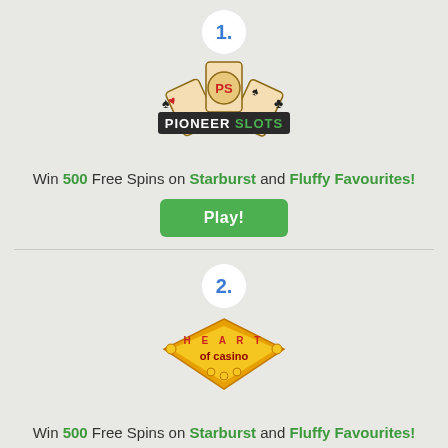[Figure (logo): Number 1 circle badge above Pioneer Slots casino logo with playing cards]
Win 500 Free Spins on Starburst and Fluffy Favourites!
Play!
[Figure (logo): Number 2 circle badge above Heart of Casino casino logo]
Win 500 Free Spins on Starburst and Fluffy Favourites!
Play!
[Figure (logo): Number 3 circle badge, partially visible at bottom]